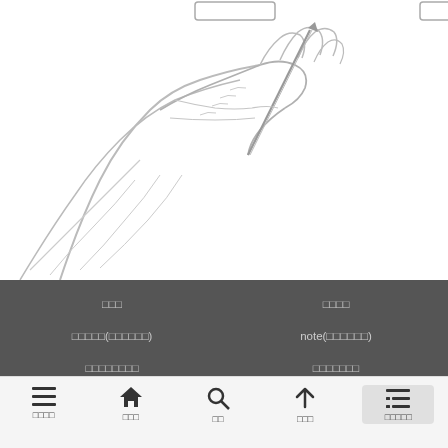[Figure (illustration): Pencil sketch drawing of a person's hand holding a pen or pencil, writing or drawing, shown from a close-up angle. Light gray sketch lines on white background.]
□□□  □□□□  □□□□□(□□□□□□)  note(□□□□□□)  □□□□□□□□  □□□□□□□
amphetamine 10mg Retard online without prescription – BUY amphetamine 10mg Retar
□□□□  □□□  □□  □□□  □□□□□